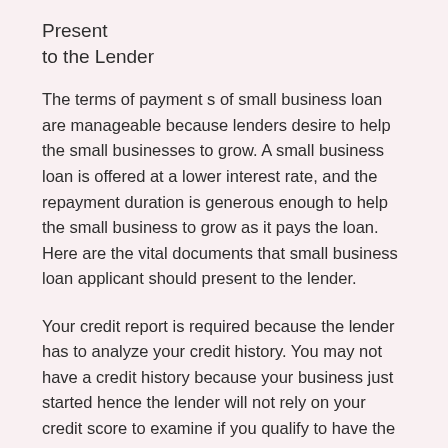Present
to the Lender
The terms of payment s of small business loan are manageable because lenders desire to help the small businesses to grow. A small business loan is offered at a lower interest rate, and the repayment duration is generous enough to help the small business to grow as it pays the loan. Here are the vital documents that small business loan applicant should present to the lender.
Your credit report is required because the lender has to analyze your credit history. You may not have a credit history because your business just started hence the lender will not rely on your credit score to examine if you qualify to have the loan or not. Lenders have the authority to access your credit history when you apply for a loan, and they can do so through their mean: